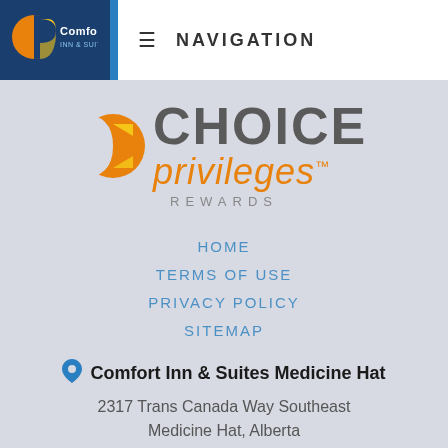[Figure (logo): Comfort Inn & Suites logo on dark blue background]
≡  NAVIGATION
[Figure (logo): Choice Privileges Rewards logo with orange C symbol, CHOICE in gray, privileges in orange italic, REWARDS in gray]
HOME
TERMS OF USE
PRIVACY POLICY
SITEMAP
Comfort Inn & Suites Medicine Hat
2317 Trans Canada Way Southeast
Medicine Hat, Alberta